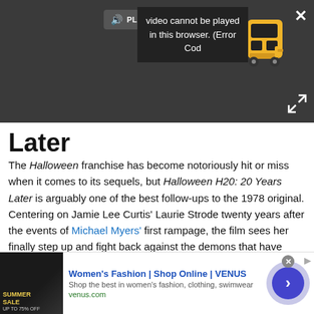[Figure (screenshot): Video player with dark background showing a 'Video cannot be played in this browser. (Error Cod' error popup, a play sound button, a yellow bus icon, a close X button, and expand arrows.]
Later
The Halloween franchise has become notoriously hit or miss when it comes to its sequels, but Halloween H20: 20 Years Later is arguably one of the best follow-ups to the 1978 original. Centering on Jamie Lee Curtis' Laurie Strode twenty years after the events of Michael Myers' first rampage, the film sees her finally step up and fight back against the demons that have haunted her for two decades. The upcoming
[Figure (screenshot): Advertisement banner for Women's Fashion | Shop Online | VENUS. Shows a sale image thumbnail on the left, ad title in blue, description text, venus.com URL in green, and a purple circle with arrow on the right.]